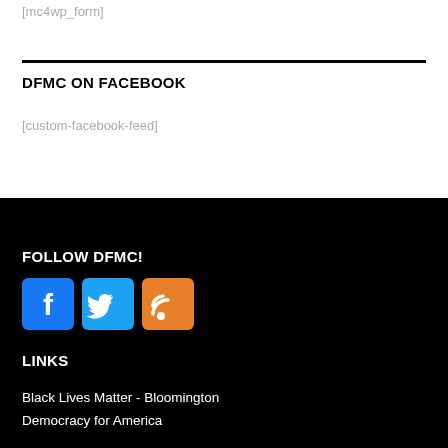[mc4wp_form]
DFMC ON FACEBOOK
[custom-facebook-feed]
FOLLOW DFMC!
[Figure (infographic): Social media icons: Facebook (blue), Twitter (blue), RSS (orange)]
LINKS
Black Lives Matter - Bloomington
Democracy for America